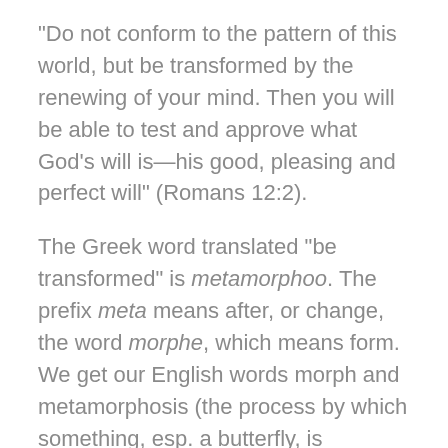“Do not conform to the pattern of this world, but be transformed by the renewing of your mind. Then you will be able to test and approve what God’s will is—his good, pleasing and perfect will” (Romans 12:2).
The Greek word translated “be transformed” is metamorphoo. The prefix meta means after, or change, the word morphe, which means form. We get our English words morph and metamorphosis (the process by which something, esp. a butterfly, is changed entirely in its form and function) from this root.
The same Greek word is used in Matthew and